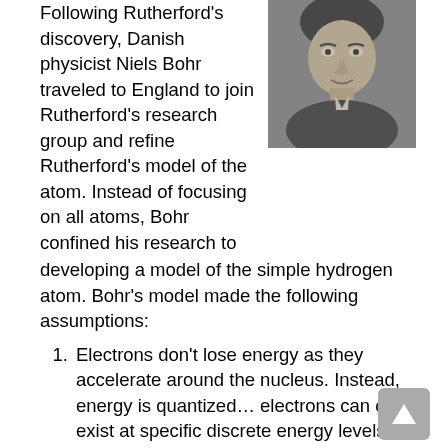Following Rutherford's discovery, Danish physicist Niels Bohr traveled to England to join Rutherford's research group and refine Rutherford's model of the atom. Instead of focusing on all atoms, Bohr confined his research to developing a model of the simple hydrogen atom. Bohr's model made the following assumptions:
[Figure (photo): Black and white portrait photograph of Niels Bohr as a young man, wearing a suit and tie.]
Electrons don't lose energy as they accelerate around the nucleus. Instead, energy is quantized… electrons can only exist at specific discrete energy levels.
Each atom allows only a limited number of specific orbits at each energy level.
To change energy levels, an electron must absorb